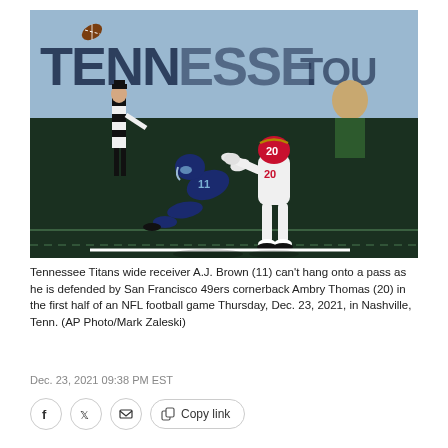[Figure (photo): NFL football game photo: Tennessee Titans wide receiver A.J. Brown (11) diving for a pass while being defended by San Francisco 49ers cornerback Ambry Thomas (20). A referee stands in the background. The football is visible in the upper left. A blue stadium banner reading 'TENNESSEE TOUGH' is in the background. The game is played on green turf.]
Tennessee Titans wide receiver A.J. Brown (11) can't hang onto a pass as he is defended by San Francisco 49ers cornerback Ambry Thomas (20) in the first half of an NFL football game Thursday, Dec. 23, 2021, in Nashville, Tenn. (AP Photo/Mark Zaleski)
Dec. 23, 2021 09:38 PM EST